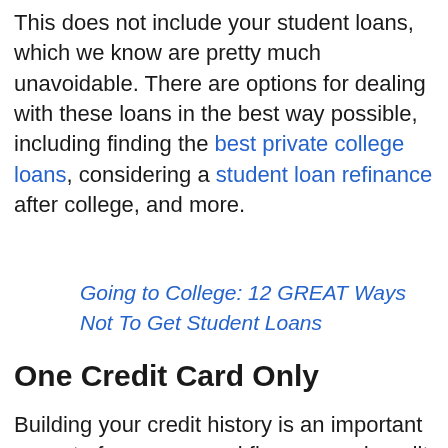This does not include your student loans, which we know are pretty much unavoidable. There are options for dealing with these loans in the best way possible, including finding the best private college loans, considering a student loan refinance after college, and more.
Going to College: 12 GREAT Ways Not To Get Student Loans
One Credit Card Only
Building your credit history is an important aspect of your personal finance, and credit